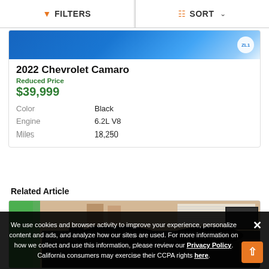FILTERS | SORT
[Figure (screenshot): Blue background car listing image for 2022 Chevrolet Camaro with white circular badge]
2022 Chevrolet Camaro
Reduced Price
$39,999
| Color | Black |
| Engine | 6.2L V8 |
| Miles | 18,250 |
Related Article
[Figure (photo): Interior of a car dealership showroom with green wall, vehicles, and display screens]
We use cookies and browser activity to improve your experience, personalize content and ads, and analyze how our sites are used. For more information on how we collect and use this information, please review our Privacy Policy. California consumers may exercise their CCPA rights here.